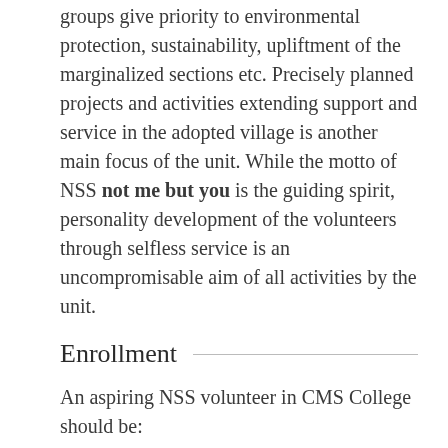groups give priority to environmental protection, sustainability, upliftment of the marginalized sections etc. Precisely planned projects and activities extending support and service in the adopted village is another main focus of the unit. While the motto of NSS not me but you is the guiding spirit, personality development of the volunteers through selfless service is an uncompromisable aim of all activities by the unit.
Enrollment
An aspiring NSS volunteer in CMS College should be:
a first year degree student